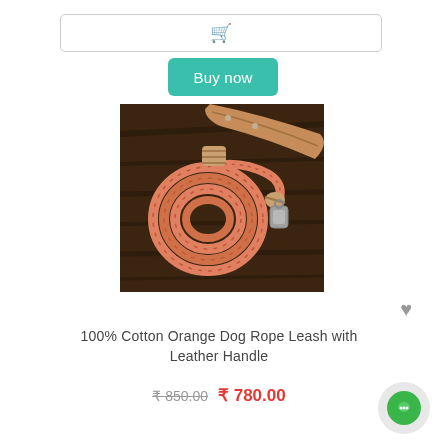[Figure (screenshot): Cart input bar with shopping cart icon]
Buy now
[Figure (photo): Orange cotton rope dog leash with leather handle coiled on dark wood surface]
100% Cotton Orange Dog Rope Leash with Leather Handle
₹ 850.00  ₹ 780.00